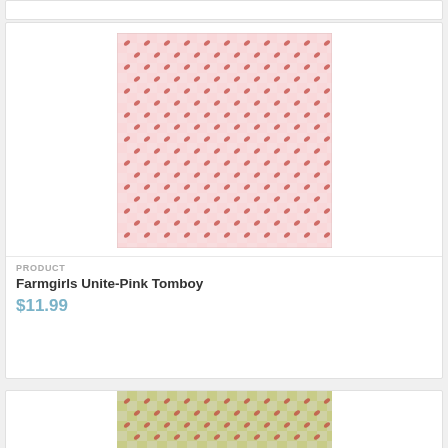[Figure (illustration): Pink gingham fabric pattern with small red leaf/petal motifs repeated across a white and pink checkered background]
PRODUCT
Farmgirls Unite-Pink Tomboy
$11.99
[Figure (illustration): Green/olive gingham fabric pattern with small red leaf/petal motifs repeated across a white and green checkered background]